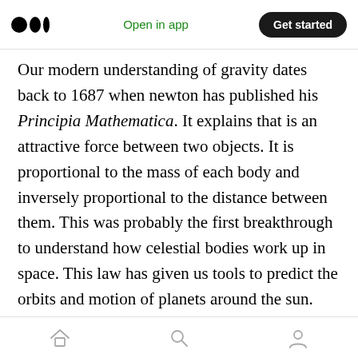Open in app | Get started
Our modern understanding of gravity dates back to 1687 when newton has published his Principia Mathematica. It explains that is an attractive force between two objects. It is proportional to the mass of each body and inversely proportional to the distance between them. This was probably the first breakthrough to understand how celestial bodies work up in space. This law has given us tools to predict the orbits and motion of planets around the sun. Newton-like other philosophers before him had believed in absolute time. There are a universal clock and time is the
Home | Search | Profile